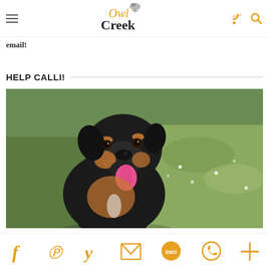Owl Creek [logo with hamburger menu, RSS, and search icons]
email!
HELP CALLI!
[Figure (photo): A black and tan dog (resembling a Rottweiler mix) with mouth open and tongue out, sitting in a field of green grass with small white flowers.]
Share icons: Facebook, Pinterest, Yummly, Email, SMS, WhatsApp, More